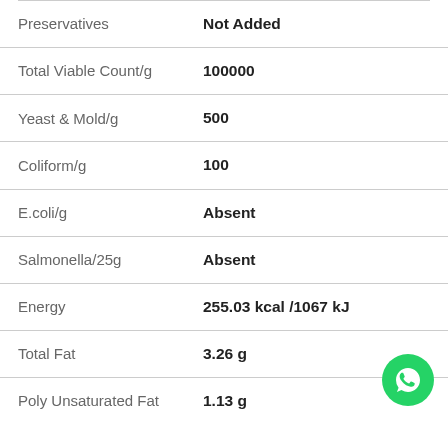| Property | Value |
| --- | --- |
| Preservatives | Not Added |
| Total Viable Count/g | 100000 |
| Yeast & Mold/g | 500 |
| Coliform/g | 100 |
| E.coli/g | Absent |
| Salmonella/25g | Absent |
| Energy | 255.03 kcal /1067 kJ |
| Total Fat | 3.26 g |
| Poly Unsaturated Fat | 1.13 g |
[Figure (logo): WhatsApp chat button icon, green circle with white phone/speech bubble logo]